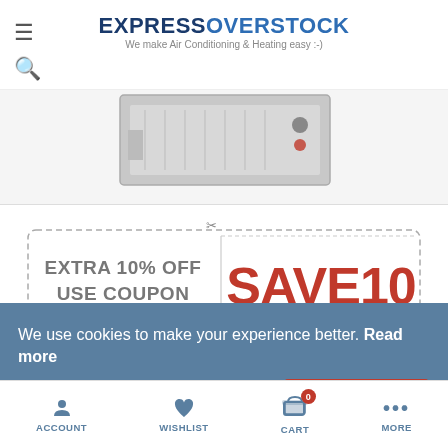EXPRESSOVERSTOCK — We make Air Conditioning & Heating easy :-)
[Figure (photo): Partial product image of an HVAC component (cased copper coil unit), cropped at top]
[Figure (infographic): Coupon banner with dashed border: EXTRA 10% OFF USE COUPON SAVE10]
ADP 3.5-5 Ton Cased Copper
We use cookies to make your experience better. Read more
Allow Cookies
ACCOUNT | WISHLIST | CART (0) | MORE